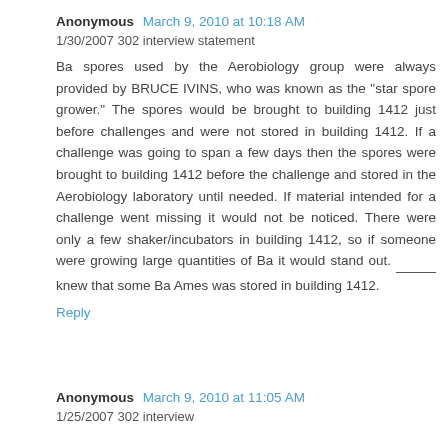Anonymous  March 9, 2010 at 10:18 AM
1/30/2007 302 interview statement
Ba spores used by the Aerobiology group were always provided by BRUCE IVINS, who was known as the "star spore grower." The spores would be brought to building 1412 just before challenges and were not stored in building 1412. If a challenge was going to span a few days then the spores were brought to building 1412 before the challenge and stored in the Aerobiology laboratory until needed. If material intended for a challenge went missing it would not be noticed. There were only a few shaker/incubators in building 1412, so if someone were growing large quantities of Ba it would stand out. _____ knew that some Ba Ames was stored in building 1412.
Reply
Anonymous  March 9, 2010 at 11:05 AM
1/25/2007 302 interview